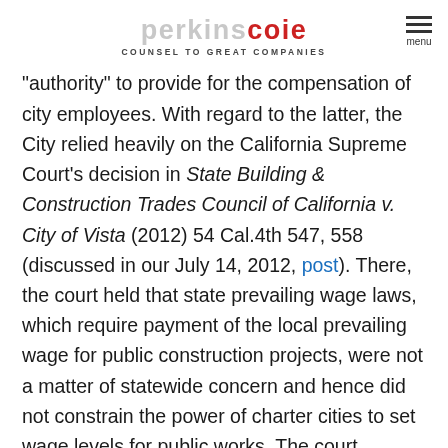Perkins Coie — Counsel to Great Companies
Article XI, section 5, which grants to cities authority over municipal affairs, including the "authority" to provide for the compensation of city employees. With regard to the latter, the City relied heavily on the California Supreme Court's decision in State Building & Construction Trades Council of California v. City of Vista (2012) 54 Cal.4th 547, 558 (discussed in our July 14, 2012, post). There, the court held that state prevailing wage laws, which require payment of the local prevailing wage for public construction projects, were not a matter of statewide concern and hence did not constrain the power of charter cities to set wage levels for public works. The court reasoned that construction of local public works projects for the benefit of a city's inhabitants was "quintessentially a municipal affair" and that the regional or statewide impacts of local spending on wages were not sufficient to make them a matter of